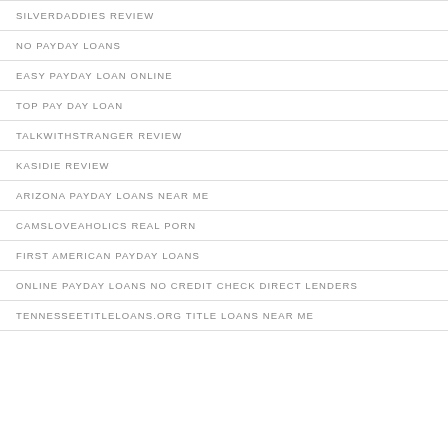SILVERDADDIES REVIEW
NO PAYDAY LOANS
EASY PAYDAY LOAN ONLINE
TOP PAY DAY LOAN
TALKWITHSTRANGER REVIEW
KASIDIE REVIEW
ARIZONA PAYDAY LOANS NEAR ME
CAMSLOVEAHOLICS REAL PORN
FIRST AMERICAN PAYDAY LOANS
ONLINE PAYDAY LOANS NO CREDIT CHECK DIRECT LENDERS
TENNESSEETITLELOANS.ORG TITLE LOANS NEAR ME